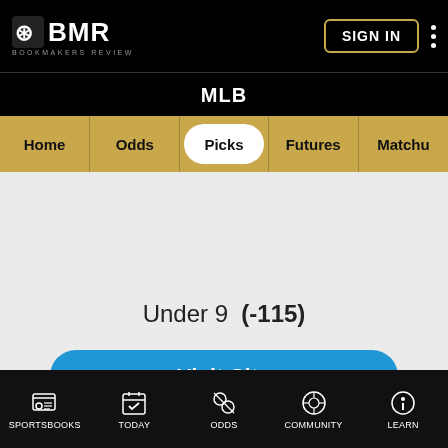BMR BOOKMAKERS REVIEW
MLB
Home | Odds | Picks | Futures | Matchu
Under 9  (-115)
Visit Site
Bookmakers Review uses cookies to help us improve your experience in accordance with our Privacy Policy.
ACCEPT & CLOSE
SPORTSBOOKS   TODAY   ODDS   COMMUNITY   LEARN